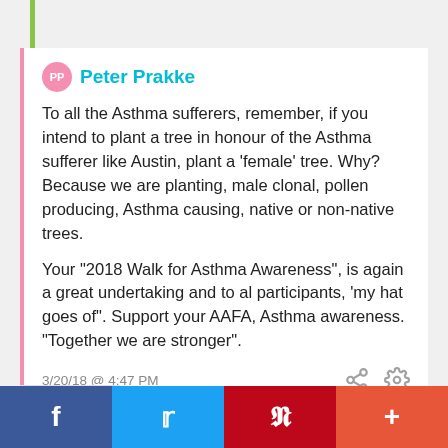Peter Prakke
To all the Asthma sufferers, remember, if you intend to plant a tree in honour of the Asthma sufferer like Austin, plant a 'female' tree. Why? Because we are planting, male clonal, pollen producing, Asthma causing, native or non-native trees.

Your "2018 Walk for Asthma Awareness", is again a great undertaking and to al participants, 'my hat goes of". Support your AAFA, Asthma awareness. "Together we are stronger".
3/20/18 @ 4:47 PM
f  t  p  +